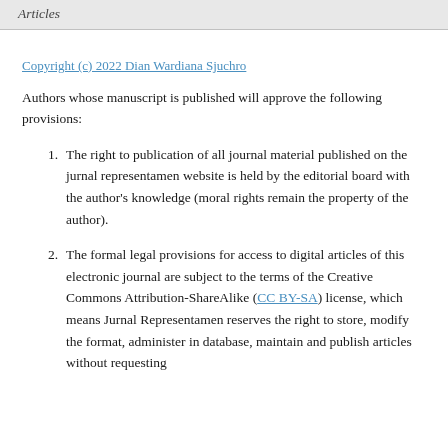Articles
Copyright (c) 2022 Dian Wardiana Sjuchro
Authors whose manuscript is published will approve the following provisions:
The right to publication of all journal material published on the jurnal representamen website is held by the editorial board with the author's knowledge (moral rights remain the property of the author).
The formal legal provisions for access to digital articles of this electronic journal are subject to the terms of the Creative Commons Attribution-ShareAlike (CC BY-SA) license, which means Jurnal Representamen reserves the right to store, modify the format, administer in database, maintain and publish articles without requesting